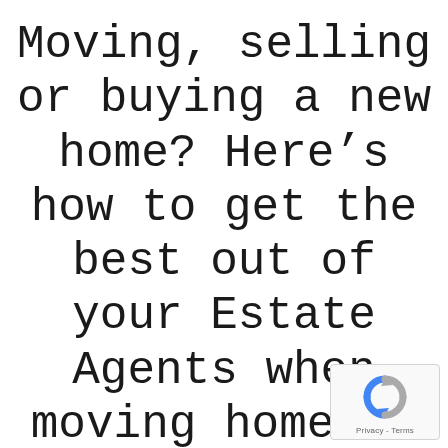Moving, selling or buying a new home? Here's how to get the best out of your Estate Agents when moving home in Tamworth Staffordshire
[Figure (logo): reCAPTCHA badge with rotating arrows logo icon and 'Privacy - Terms' text]